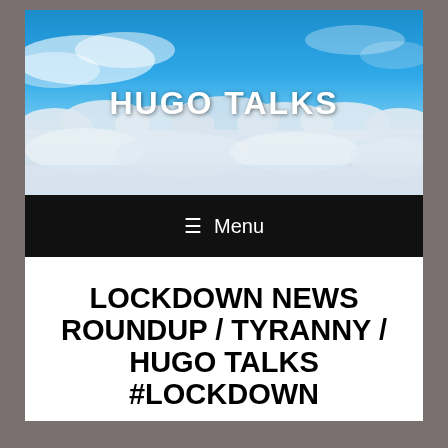[Figure (photo): Aerial view of clouds from above with blue sky. White bold text 'HUGO TALKS' overlaid in center.]
≡ Menu
LOCKDOWN NEWS ROUNDUP / TYRANNY / HUGO TALKS #LOCKDOWN